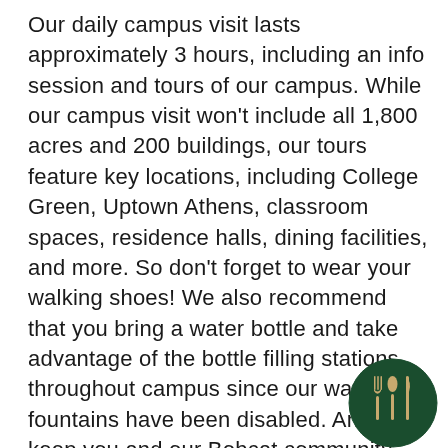Our daily campus visit lasts approximately 3 hours, including an info session and tours of our campus. While our campus visit won't include all 1,800 acres and 200 buildings, our tours feature key locations, including College Green, Uptown Athens, classroom spaces, residence halls, dining facilities, and more. So don't forget to wear your walking shoes! We also recommend that you bring a water bottle and take advantage of the bottle filling stations throughout campus since our water fountains have been disabled. And to keep you and our Bobcat community safe, please review the COVID-19 safety requirements below before visiting campus.
[Figure (logo): Ohio University Bobcat dining logo — dark green circle with fork, knife, and spoon icons in cream/tan color]